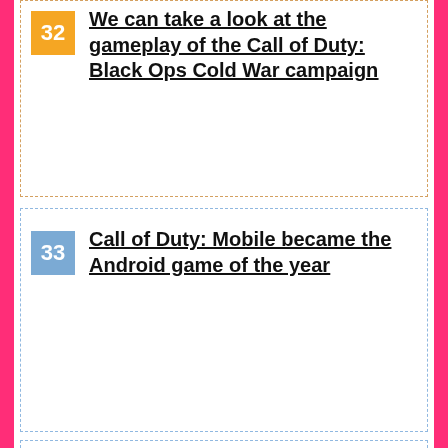32 We can take a look at the gameplay of the Call of Duty: Black Ops Cold War campaign
33 Call of Duty: Mobile became the Android game of the year
Project Oxygen wants to be the fascinating meeting point between Death Stranding and Subnautica
[Figure (photo): Chase the [alpine/mountain scene] promotional image showing mountain landscape with text overlay 'Chase the']